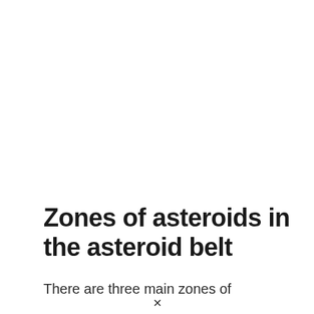Zones of asteroids in the asteroid belt
There are three main zones of